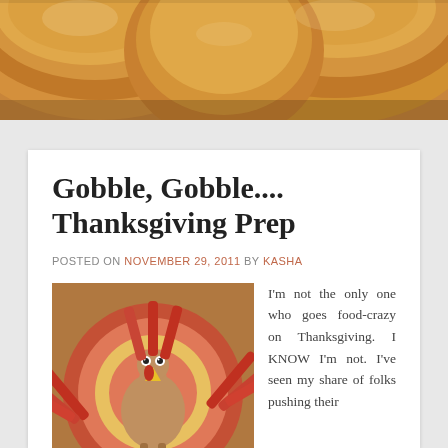[Figure (photo): Close-up photo of golden-brown bread rolls or buns from above, filling the header area]
Gobble, Gobble.... Thanksgiving Prep
POSTED ON NOVEMBER 29, 2011 BY KASHA
[Figure (photo): Handmade paper turkey craft with colorful circular feathers made from paper plates, featuring googly eyes and a beak]
I'm not the only one who goes food-crazy on Thanksgiving. I KNOW I'm not. I've seen my share of folks pushing their